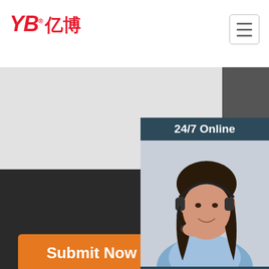[Figure (logo): YB 亿博 company logo in red with registered trademark symbol]
[Figure (other): Hamburger menu icon button (three horizontal lines)]
[Figure (other): Light gray form input area (partially visible)]
[Figure (photo): 24/7 Online customer service panel with woman wearing headset, 'Click here for free chat!' text, and orange QUOTATION button]
Submit Now
No.11, Yangshan Road, Shaoling District, Luoyang Province, China
Sitemap | heat resistant petroleum rubber hose professional | yellow eaton aeroquip teflon hose | rubber chemical hose fittings